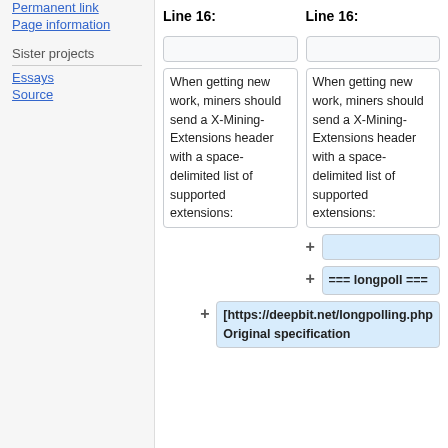Permanent link
Page information
Sister projects
Essays
Source
Line 16:
Line 16:
When getting new work, miners should send a X-Mining-Extensions header with a space-delimited list of supported extensions:
When getting new work, miners should send a X-Mining-Extensions header with a space-delimited list of supported extensions:
+
=== longpoll ===
[https://deepbit.net/longpolling.php Original specification